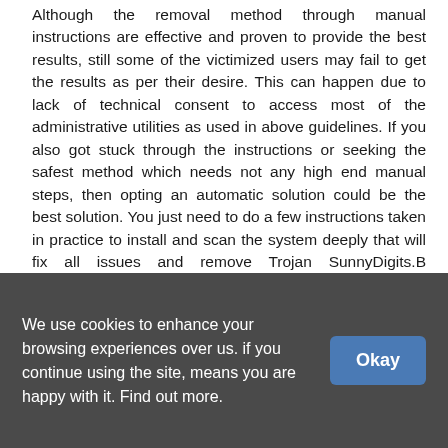Although the removal method through manual instructions are effective and proven to provide the best results, still some of the victimized users may fail to get the results as per their desire. This can happen due to lack of technical consent to access most of the administrative utilities as used in above guidelines. If you also got stuck through the instructions or seeking the safest method which needs not any high end manual steps, then opting an automatic solution could be the best solution. You just need to do a few instructions taken in practice to install and scan the system deeply that will fix all issues and remove Trojan SunnyDigits.B completely. The required steps to do so is all here mentioned.
Special Offer:
CLICK THE BUTTON TO GET FREE VERSION OF AUTO-SCANNER
We use cookies to enhance your browsing experiences over us. if you continue using the site, means you are happy with it. Find out more.